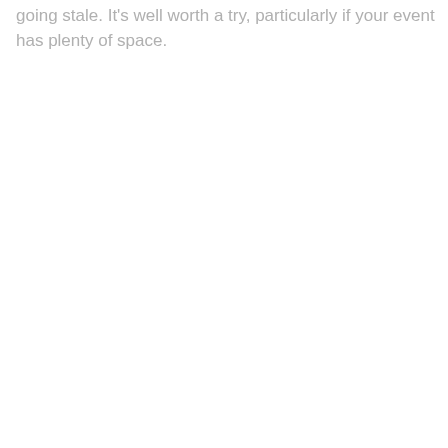going stale. It's well worth a try, particularly if your event has plenty of space.